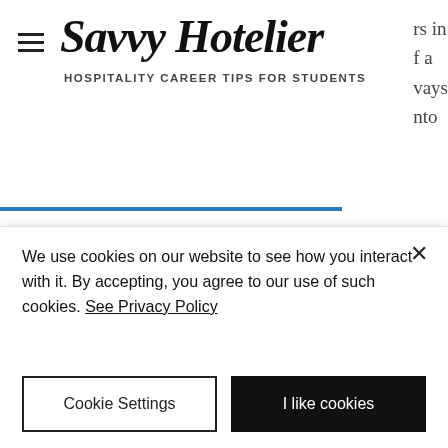Savvy Hotelier — HOSPITALITY CAREER TIPS FOR STUDENTS
each one of these and see how they work together.
Owner
This would be someone that literally owns the physical building of the hotel. They own the physical asset and are fully responsible for maintaining it. The owner
We use cookies on our website to see how you interact with it. By accepting, you agree to our use of such cookies. See Privacy Policy